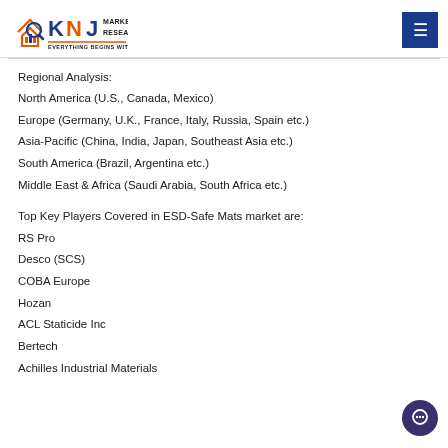KNJ MARKET RESEARCH — Everything Begins with Knowledge
Regional Analysis:
North America (U.S., Canada, Mexico)
Europe (Germany, U.K., France, Italy, Russia, Spain etc.)
Asia-Pacific (China, India, Japan, Southeast Asia etc.)
South America (Brazil, Argentina etc.)
Middle East & Africa (Saudi Arabia, South Africa etc.)
Top Key Players Covered in ESD-Safe Mats market are:
RS Pro
Desco (SCS)
COBA Europe
Hozan
ACL Staticide Inc
Bertech
Achilles Industrial Materials